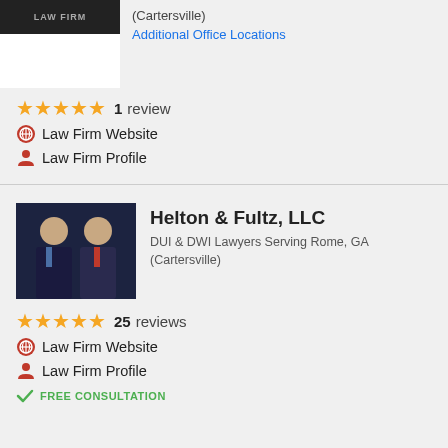[Figure (logo): Law firm logo with dark bar on top and white area below]
(Cartersville)
Additional Office Locations
★★★★★ 1 review
Law Firm Website
Law Firm Profile
[Figure (photo): Photo of two men in suits, Helton & Fultz LLC law firm]
Helton & Fultz, LLC
DUI & DWI Lawyers Serving Rome, GA (Cartersville)
★★★★★ 25 reviews
Law Firm Website
Law Firm Profile
FREE CONSULTATION